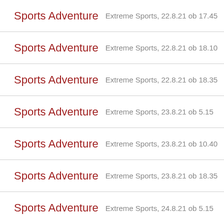Sports Adventure  Extreme Sports, 22.8.21 ob 17.45
Sports Adventure  Extreme Sports, 22.8.21 ob 18.10
Sports Adventure  Extreme Sports, 22.8.21 ob 18.35
Sports Adventure  Extreme Sports, 23.8.21 ob 5.15
Sports Adventure  Extreme Sports, 23.8.21 ob 10.40
Sports Adventure  Extreme Sports, 23.8.21 ob 18.35
Sports Adventure  Extreme Sports, 24.8.21 ob 5.15